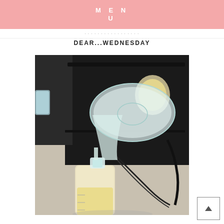MENU
DEAR...WEDNESDAY
[Figure (photo): A breast pump with a clear funnel/shield attached to a bottle containing yellowish breast milk, placed on a light surface with a black pump bag and accessories in the background.]